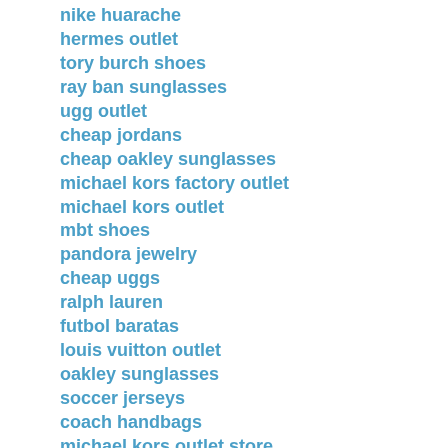nike huarache
hermes outlet
tory burch shoes
ray ban sunglasses
ugg outlet
cheap jordans
cheap oakley sunglasses
michael kors factory outlet
michael kors outlet
mbt shoes
pandora jewelry
cheap uggs
ralph lauren
futbol baratas
louis vuitton outlet
oakley sunglasses
soccer jerseys
coach handbags
michael kors outlet store
lululemon outlet
Reply